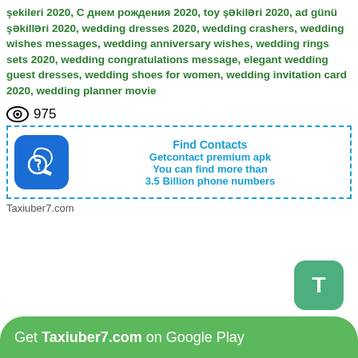şekileri 2020, С днем рождения 2020, toy şəkiləri 2020, ad günü şəkilləri 2020, wedding dresses 2020, wedding crashers, wedding wishes messages, wedding anniversary wishes, wedding rings sets 2020, wedding congratulations message, elegant wedding guest dresses, wedding shoes for women, wedding invitation card 2020, wedding planner movie
975
[Figure (screenshot): GetContact app ad with phone icon. Find Contacts, Getcontact premium apk, You can find more than 3.5 Billion phone numbers]
Taxiuber7.com
[Figure (logo): Green T button icon]
Get Taxiuber7.com on Google Play